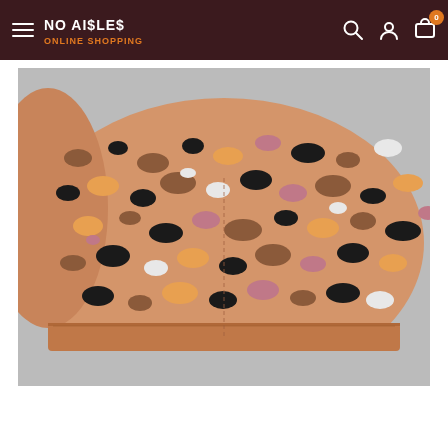No Aisles Online Shopping
[Figure (photo): Close-up photo of a fabric face mask with a leopard/animal print pattern in brown, black, orange, pink, and white colors on a light grey background.]